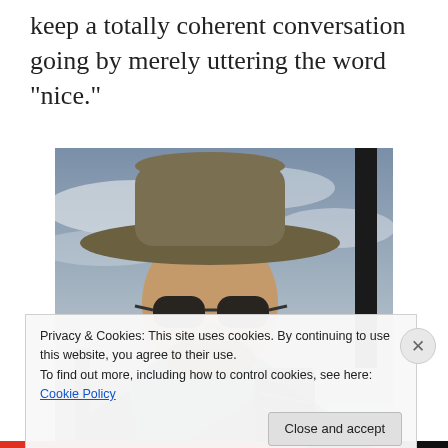keep a totally coherent conversation going by merely uttering the word “nice.”
[Figure (photo): A man wearing a wide-brim hat and sunglasses, looking up at the camera with an open mouth, outdoors with cloudy sky background]
Privacy & Cookies: This site uses cookies. By continuing to use this website, you agree to their use.
To find out more, including how to control cookies, see here: Cookie Policy
Close and accept